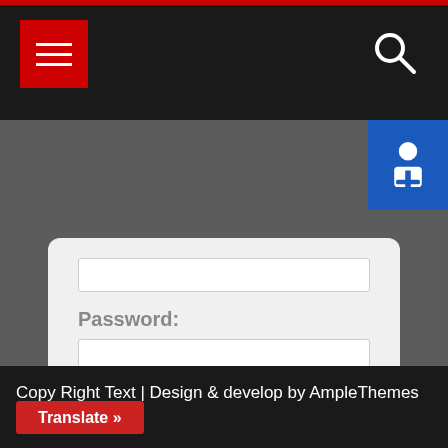[Figure (screenshot): Top navigation bar with red hamburger menu button on left and white search icon on right, on dark background]
[Figure (screenshot): Login form with Password label, text input field, checked Remember me checkbox, and Login button on light gray card]
Copy Right Text | Design & develop by AmpleThemes
Translate »